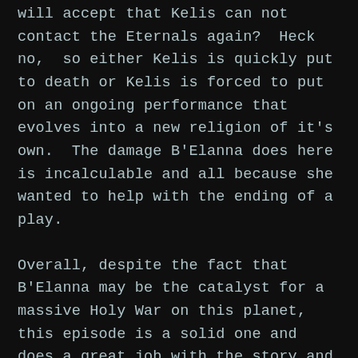the Patron will accept that Kelis can not contact the Eternals again?  Heck no,  so either Kelis is quickly put to death or Kelis is forced to put on an ongoing performance that evolves into a new religion of it's own.  The damage B'Elanna does here is incalculable and all because she wanted to help with the ending of a play.
Overall, despite the fact that B'Elanna may be the catalyst for a massive Holy War on this planet, this episode is a solid one and does a great job with the story and character development.  I like it....now...I have to wonder what happened to the